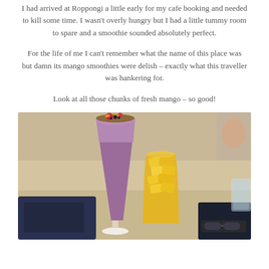I had arrived at Roppongi a little early for my cafe booking and needed to kill some time. I wasn't overly hungry but I had a little tummy room to spare and a smoothie sounded absolutely perfect.
For the life of me I can't remember what the name of this place was but damn its mango smoothies were delish – exactly what this traveller was hankering for.
Look at all those chunks of fresh mango – so good!
[Figure (photo): Two smoothie drinks on a cafe table: a purple berry smoothie in a tall glass topped with granola and fruit on the left, and a mango smoothie in a short glass filled with large chunks of fresh mango on the right. A dark bag and sunglasses are visible in the background.]